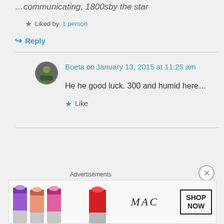...communicating, 1800sby the star
★ Liked by 1 person
↪ Reply
Boeta on January 13, 2015 at 11:25 am
He he good luck. 300 and humid here...
★ Like
Advertisements
[Figure (photo): MAC cosmetics advertisement banner showing lipsticks and SHOP NOW text]